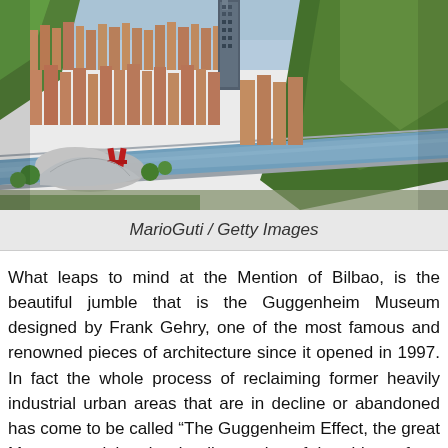[Figure (photo): Aerial cityscape view of Bilbao, Spain, showing dense urban residential buildings with orange/terracotta rooftops, a river running through the city, the Guggenheim Museum visible in the lower left area, green forested hills on the right, and a tall modern tower in the center background.]
MarioGuti / Getty Images
What leaps to mind at the Mention of Bilbao, is the beautiful jumble that is the Guggenheim Museum designed by Frank Gehry, one of the most famous and renowned pieces of architecture since it opened in 1997. In fact the whole process of reclaiming former heavily industrial urban areas that are in decline or abandoned has come to be called "The Guggenheim Effect, the great Museum reclaimed a derelict section of the old port for a sustainable